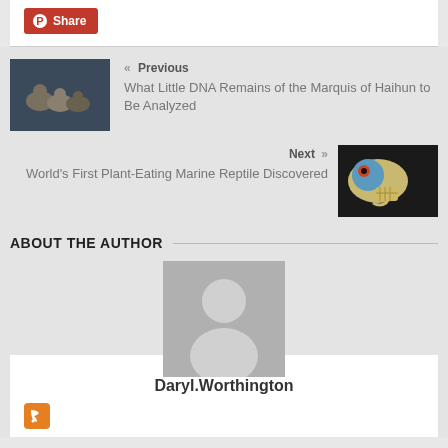[Figure (other): Red Pinterest Share button]
[Figure (photo): Photo of ancient duck figurines on dark background]
« Previous
What Little DNA Remains of the Marquis of Haihun to Be Analyzed
Next »
World's First Plant-Eating Marine Reptile Discovered
[Figure (photo): Photo of a blue-headed reptile fossil or painting]
ABOUT THE AUTHOR
[Figure (other): Generic author avatar placeholder (grey silhouette)]
Daryl.Worthington
[Figure (other): Orange RSS feed icon]